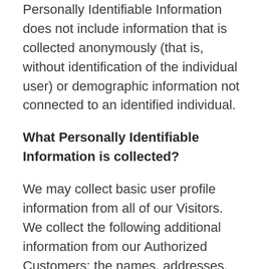Personally Identifiable Information does not include information that is collected anonymously (that is, without identification of the individual user) or demographic information not connected to an identified individual.
What Personally Identifiable Information is collected?
We may collect basic user profile information from all of our Visitors. We collect the following additional information from our Authorized Customers: the names, addresses, phone numbers and email addresses of Authorized Customers, the